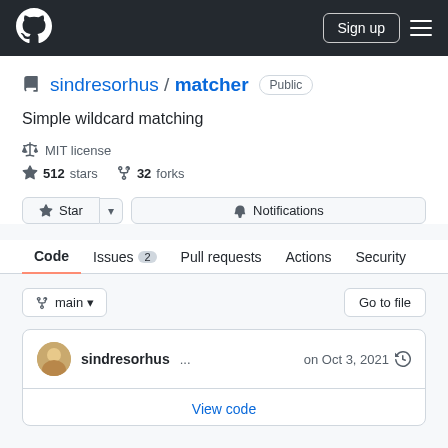GitHub header with logo, Sign up button, and menu
sindresorhus / matcher Public
Simple wildcard matching
MIT license
512 stars   32 forks
Star  Notifications
Code  Issues 2  Pull requests  Actions  Security
main  Go to file
sindresorhus ...  on Oct 3, 2021
View code